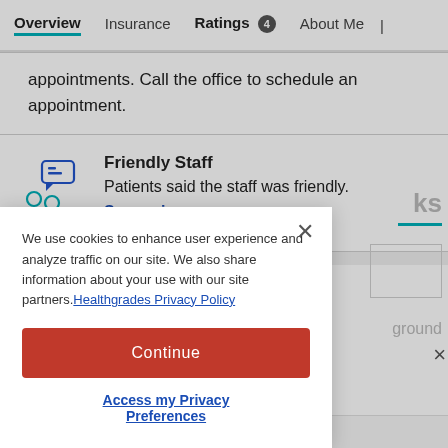Overview | Insurance | Ratings 4 | About Me
appointments. Call the office to schedule an appointment.
Friendly Staff
Patients said the staff was friendly.
See reviews
We use cookies to enhance user experience and analyze traffic on our site. We also share information about your use with our site partners. Healthgrades Privacy Policy
Continue
Access my Privacy Preferences